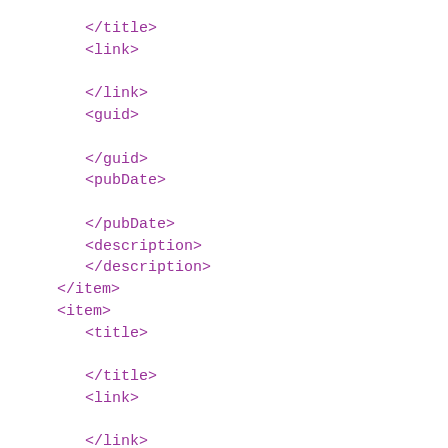</title>
<link>

</link>
<guid>

</guid>
<pubDate>

</pubDate>
<description>
</description>
</item>
<item>
<title>

</title>
<link>

</link>